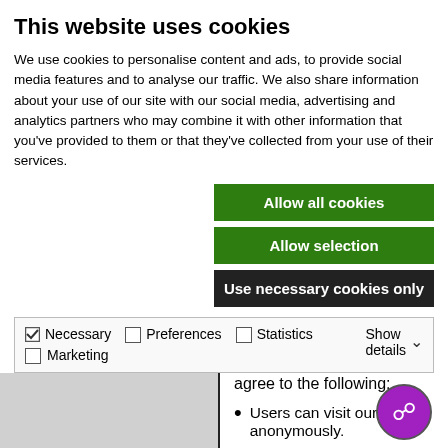This website uses cookies
We use cookies to personalise content and ads, to provide social media features and to analyse our traffic. We also share information about your use of our site with our social media, advertising and analytics partners who may combine it with other information that you've provided to them or that they've collected from your use of their services.
Allow all cookies
Allow selection
Use necessary cookies only
| Necessary | Preferences | Statistics |  | Show details |
| --- | --- | --- | --- | --- |
| ✓ Necessary | ☐ Preferences | ☐ Statistics |  | Show details ∨ |
| ☐ Marketing |  |  |  |  |
dpuf
According To CalOPPA, we agree to the following:
Users can visit our site anonymously.